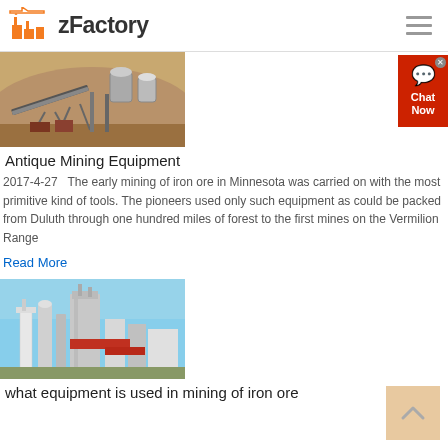zFactory
[Figure (photo): Antique mining equipment at an open-pit mine site with conveyor belts and industrial machinery against a rocky hillside backdrop]
Antique Mining Equipment
2017-4-27   The early mining of iron ore in Minnesota was carried on with the most primitive kind of tools. The pioneers used only such equipment as could be packed from Duluth through one hundred miles of forest to the first mines on the Vermilion Range
Read More
[Figure (photo): Industrial iron ore processing facility with tall towers, silos and buildings against a blue sky]
what equipment is used in mining of iron ore